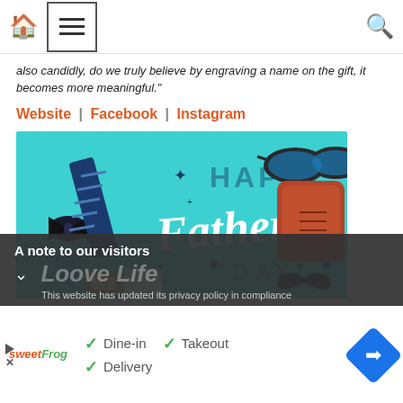Navigation bar with home, menu, and search icons
also candidly, do we truly believe by engraving a name on the gift, it becomes more meaningful."
Website | Facebook | Instagram
[Figure (photo): Happy Father's Day promotional image with ties, bow ties, sunglasses, leather shoes, a watch, and mustache on a teal/cyan background with white script text reading 'Happy Father's Day']
A note to our visitors
This website has updated its privacy policy in compliance
✓ Dine-in  ✓ Takeout  ✓ Delivery